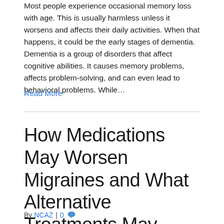Most people experience occasional memory loss with age. This is usually harmless unless it worsens and affects their daily activities. When that happens, it could be the early stages of dementia. Dementia is a group of disorders that affect cognitive abilities. It causes memory problems, affects problem-solving, and can even lead to behavioral problems. While…
Read More
How Medications May Worsen Migraines and What Alternative Treatments May Help
By NCAZ | 0